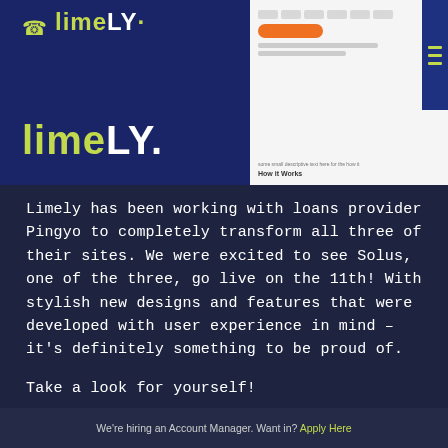[Figure (screenshot): Header banner with dark navy background showing Limely branding logo (lime/white text) and phone icon on the left, and a website screenshot on the right showing UI elements with orange button and 'How it Works' section]
Limely has been working with loans provider Pingyo to completely transform all three of their sites. We were excited to see Solus, one of the three, go live on the 11th! With stylish new designs and features that were developed with user experience in mind – it's definitely something to be proud of.
Take a look for yourself!
VISIT WEBSITE
We're hiring an Account Manager. Want in? Apply Here